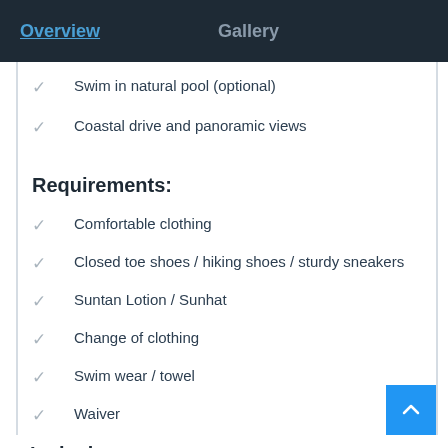Overview  Gallery
Swim in natural pool (optional)
Coastal drive and panoramic views
Requirements:
Comfortable clothing
Closed toe shoes / hiking shoes / sturdy sneakers
Suntan Lotion / Sunhat
Change of clothing
Swim wear / towel
Waiver
Inclusions: